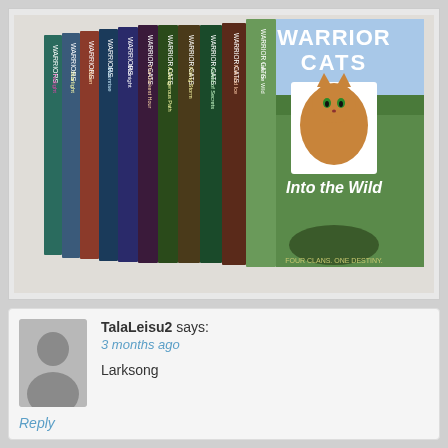[Figure (photo): A collection of Warrior Cats book series arranged as a stack of books with spines visible, showing titles including Into the Wild, Fire and Ice, Forest of Secrets, Rising Storm, A Dangerous Path, The Darkest Hour, Midnight, Moonrise, Dawn, Starlight, Twilight. The rightmost book shows the front cover of 'Into the Wild' by Warrior Cats featuring a cat on the cover.]
TalaLeisu2 says:
3 months ago
Larksong
Reply